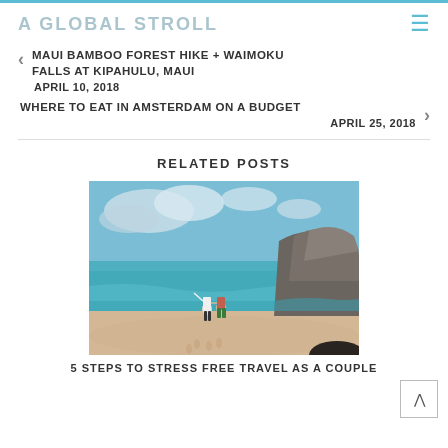A GLOBAL STROLL
MAUI BAMBOO FOREST HIKE + WAIMOKU FALLS AT KIPAHULU, MAUI
APRIL 10, 2018
WHERE TO EAT IN AMSTERDAM ON A BUDGET
APRIL 25, 2018
RELATED POSTS
[Figure (photo): Two people standing on a sandy beach with turquoise ocean water and large rock formations in the background under a partly cloudy sky]
5 STEPS TO STRESS FREE TRAVEL AS A COUPLE